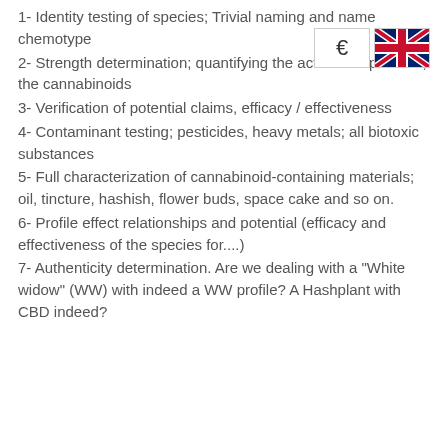1- Identity testing of species; Trivial naming and name chemotype
2- Strength determination; quantifying the active components, the cannabinoids
3- Verification of potential claims, efficacy / effectiveness
4- Contaminant testing; pesticides, heavy metals; all biotoxic substances
5- Full characterization of cannabinoid-containing materials; oil, tincture, hashish, flower buds, space cake and so on.
6- Profile effect relationships and potential (efficacy and effectiveness of the species for....)
7- Authenticity determination. Are we dealing with a "White widow" (WW) with indeed a WW profile? A Hashplant with CBD indeed?